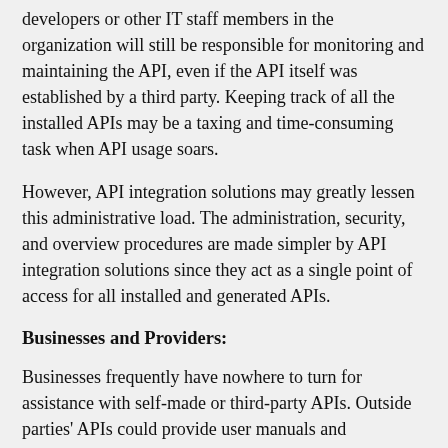developers or other IT staff members in the organization will still be responsible for monitoring and maintaining the API, even if the API itself was established by a third party. Keeping track of all the installed APIs may be a taxing and time-consuming task when API usage soars.
However, API integration solutions may greatly lessen this administrative load. The administration, security, and overview procedures are made simpler by API integration solutions since they act as a single point of access for all installed and generated APIs.
Businesses and Providers:
Businesses frequently have nowhere to turn for assistance with self-made or third-party APIs. Outside parties' APIs could provide user manuals and documentation.
Providers of API integration platforms frequently have specialists on staff to consult as necessary. This kind of assistance can certify that your method…